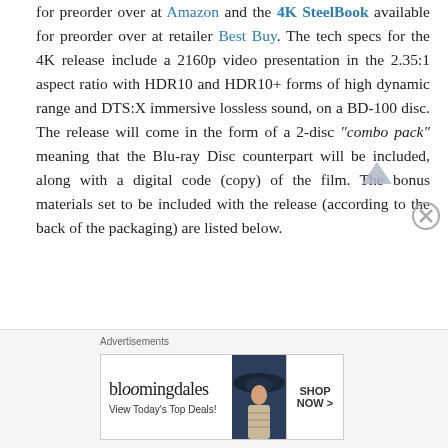for preorder over at Amazon and the 4K SteelBook available for preorder over at retailer Best Buy. The tech specs for the 4K release include a 2160p video presentation in the 2.35:1 aspect ratio with HDR10 and HDR10+ forms of high dynamic range and DTS:X immersive lossless sound, on a BD-100 disc. The release will come in the form of a 2-disc "combo pack" meaning that the Blu-ray Disc counterpart will be included, along with a digital code (copy) of the film. The bonus materials set to be included with the release (according to the back of the packaging) are listed below.
Deleted Scenes
The Making of Carlito's Way
[Figure (other): Bloomingdale's advertisement banner: logo, 'View Today's Top Deals!' tagline, woman with wide-brim hat image, and 'SHOP NOW >' button]